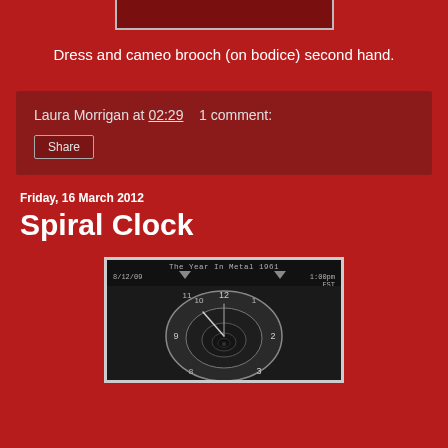[Figure (photo): Partial view of a photo showing a dress with cameo brooch, cropped at top]
Dress and cameo brooch (on bodice) second hand.
Laura Morrigan at 02:29   1 comment:
Share
Friday, 16 March 2012
Spiral Clock
[Figure (photo): A spiral clock image with text 'The Year In Metal 1961', date '8/12/09', time '1:00pm EST', showing a clock face in a spiral/recursive pattern in black and white]